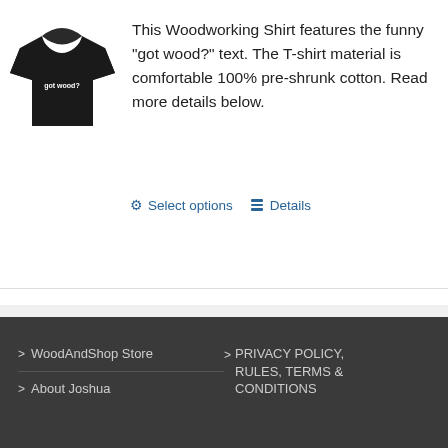[Figure (photo): Black t-shirt with 'got wood?' text on it]
This Woodworking Shirt features the funny "got wood?" text. The T-shirt material is comfortable 100% pre-shrunk cotton. Read more details below.
Select options
Details
> WoodAndShop Store
> About Joshua
> PRIVACY POLICY, RULES, TERMS & CONDITIONS